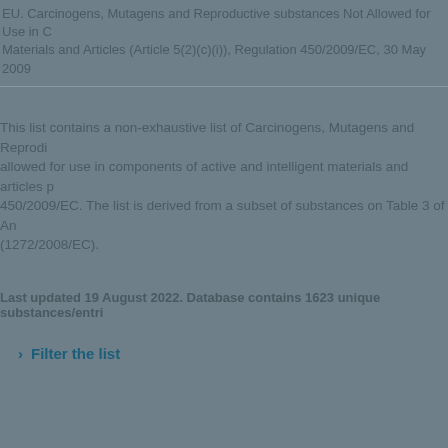EU. Carcinogens, Mutagens and Reproductive substances Not Allowed for Use in Components of Active and Intelligent Materials and Articles (Article 5(2)(c)(i)), Regulation 450/2009/EC, 30 May 2009
This list contains a non-exhaustive list of Carcinogens, Mutagens and Reproductive substances not allowed for use in components of active and intelligent materials and articles pursuant to Regulation 450/2009/EC. The list is derived from a subset of substances on Table 3 of Annex VI to Regulation (1272/2008/EC).
Last updated 19 August 2022. Database contains 1623 unique substances/entries.
Filter the list